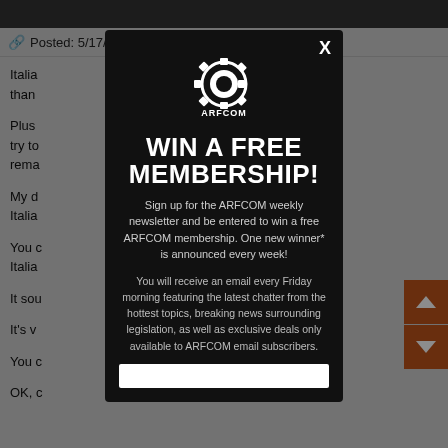Posted: 5/17/2002 5:13:29 PM EDT
Italia... er than
Plus ... n you try to... rema...
My d... Italia...
You c... know Italia...
It sou...
It's v...
You c...
OK, c...
[Figure (screenshot): ARFCOM modal popup with dark background. Logo at top with gear icon and ARFCOM text. Title: WIN A FREE MEMBERSHIP! Subtitle: Sign up for the ARFCOM weekly newsletter and be entered to win a free ARFCOM membership. One new winner* is announced every week! Body: You will receive an email every Friday morning featuring the latest chatter from the hottest topics, breaking news surrounding legislation, as well as exclusive deals only available to ARFCOM email subscribers. Email input field at bottom. X close button top right.]